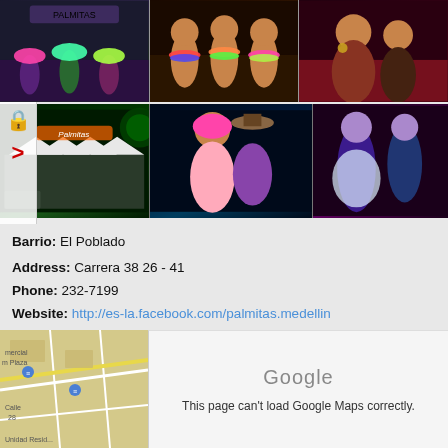[Figure (photo): Top row of three nightclub/event photos: left shows performers with colorful feather costumes on stage with neon lighting; center shows three shirtless men wearing colorful flower leis; right shows two women at a party/event.]
[Figure (photo): Bottom row of three nightclub/event photos: left shows exterior of Palmitas nightclub with neon sign at night; center shows a woman in pink bikini top with pink wig and a man in a hat; right shows dancers under purple/blue UV lighting.]
Barrio: El Poblado
Address: Carrera 38 26 - 41
Phone: 232-7199
Website: http://es-la.facebook.com/palmitas.medellin
Email: palmitasmedellin@gmail.com
[Figure (map): Google Maps embed showing street map of El Poblado area with roads. Right side shows Google error message: 'This page can't load Google Maps correctly.']